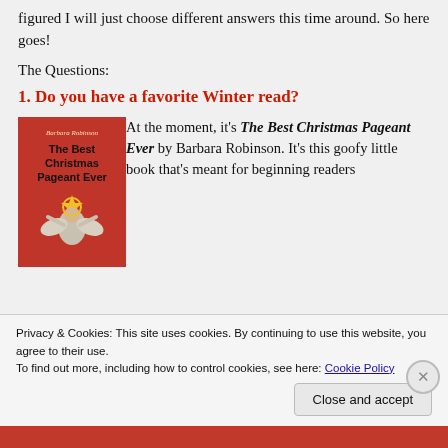figured I will just choose different answers this time around. So here goes!
The Questions:
1. Do you have a favorite Winter read?
[Figure (photo): Book cover of 'The Best Christmas Pageant Ever' by Barbara Robinson - red cover with angel figure and gold star]
At the moment, it’s The Best Christmas Pageant Ever by Barbara Robinson. It’s this goofy little book that’s meant for beginning readers
Privacy & Cookies: This site uses cookies. By continuing to use this website, you agree to their use.
To find out more, including how to control cookies, see here: Cookie Policy